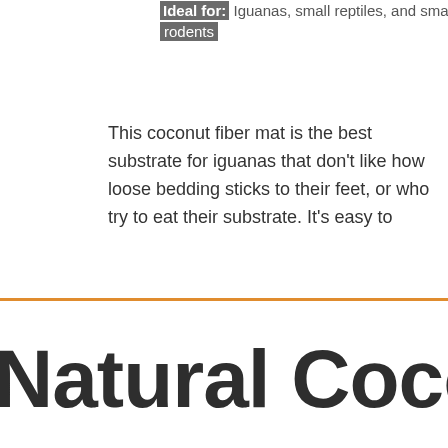Ideal for: Iguanas, small reptiles, and small rodents
This coconut fiber mat is the best substrate for iguanas that don't like how loose bedding sticks to their feet, or who try to eat their substrate. It's easy to
Natural Coconut H